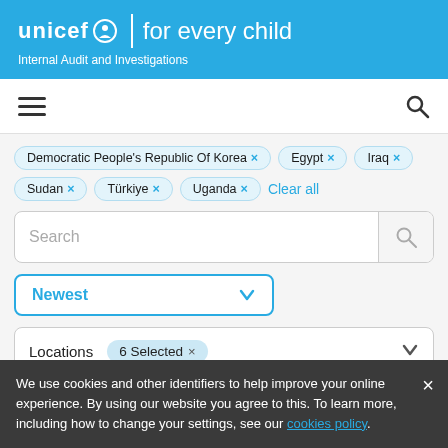[Figure (logo): UNICEF 'for every child' logo with Internal Audit and Investigations subtitle on blue header background]
[Figure (screenshot): Navigation bar with hamburger menu icon on left and search magnifying glass icon on right]
Democratic People's Republic Of Korea × Egypt × Iraq × Sudan × Türkiye × Uganda × Clear all
Search
Newest
Locations 6 Selected ×
We use cookies and other identifiers to help improve your online experience. By using our website you agree to this. To learn more, including how to change your settings, see our cookies policy.